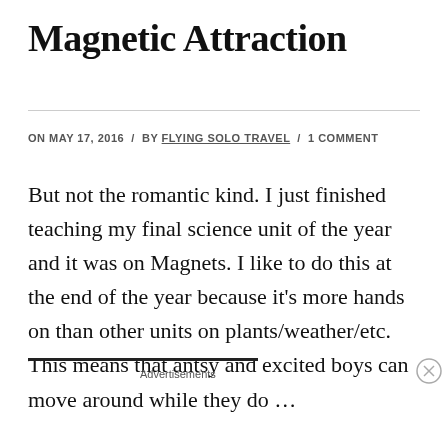Magnetic Attraction
ON MAY 17, 2016 / BY FLYING SOLO TRAVEL / 1 COMMENT
But not the romantic kind. I just finished teaching my final science unit of the year and it was on Magnets. I like to do this at the end of the year because it's more hands on than other units on plants/weather/etc. This means that antsy and excited boys can move around while they do …
[Figure (other): DuckDuckGo advertisement banner: orange background with text 'Search, browse, and email with more privacy. All in One Free App' and DuckDuckGo logo on dark background]